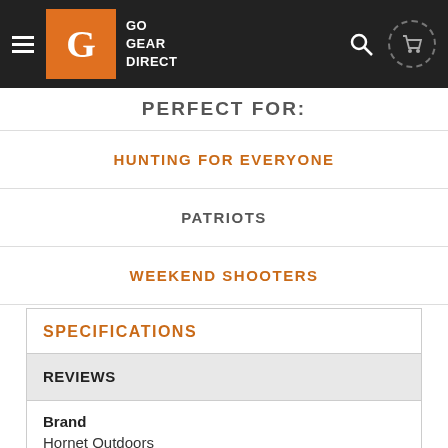GO GEAR DIRECT
PERFECT FOR:
HUNTING FOR EVERYONE
PATRIOTS
WEEKEND SHOOTERS
SPECIFICATIONS
REVIEWS
| Brand |
| --- |
| Hornet Outdoors |